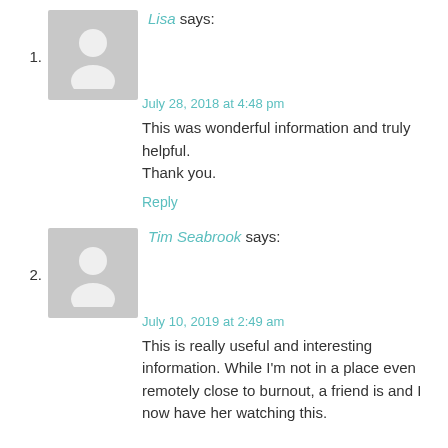1. Lisa says: July 28, 2018 at 4:48 pm — This was wonderful information and truly helpful. Thank you. Reply
2. Tim Seabrook says: July 10, 2019 at 2:49 am — This is really useful and interesting information. While I'm not in a place even remotely close to burnout, a friend is and I now have her watching this. Thanks for all the advice. Very useful. Reply